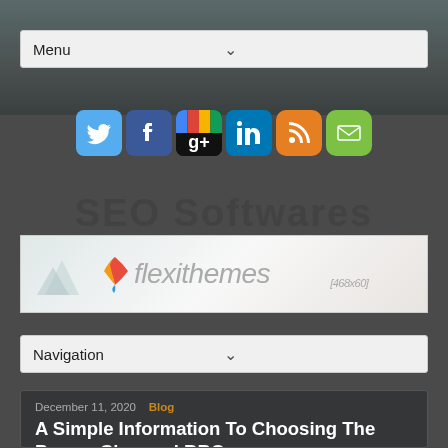Menu
[Figure (illustration): Row of social media icons: Twitter (blue), Facebook (dark blue), Google+ (multicolor), LinkedIn (blue), RSS (orange), Email (green)]
SEO Softwares
[Figure (illustration): Flexithemes advertisement banner 468x60 with mountain logo and colorful leaf icon]
Navigation
December 11, 2020   Blog
A Simple Information To Choosing The Proper Charcoal BBQ
This is likely one of the options you can use to control the temperature. Choose three fundamental massive surface textures and stability by alternating one high texture and one low texture furnishings. Gentle surface flooring: Carpeting and rug texture options